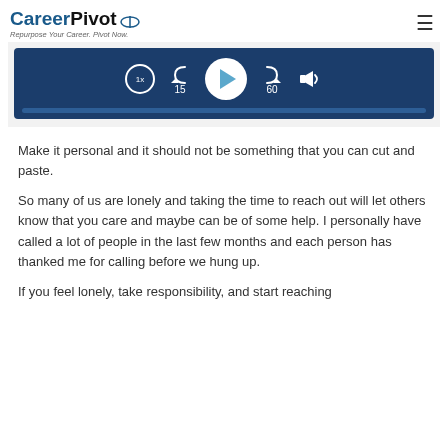CareerPivot — Repurpose Your Career. Pivot Now.
[Figure (screenshot): Audio/podcast player with dark navy background showing playback controls: 1x speed button, rewind 15 seconds, play button (white circle with blue triangle), forward 60 seconds, and speaker/volume icon. A progress bar is shown below the controls.]
Make it personal and it should not be something that you can cut and paste.
So many of us are lonely and taking the time to reach out will let others know that you care and maybe can be of some help. I personally have called a lot of people in the last few months and each person has thanked me for calling before we hung up.
If you feel lonely, take responsibility, and start reaching